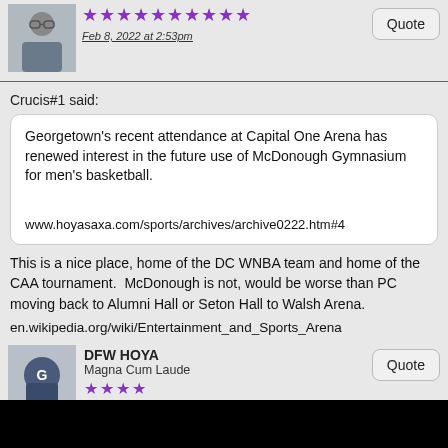[Figure (photo): User avatar photo of a person in suit with glasses, small thumbnail]
★★★★★★★★★★
Feb 8, 2022 at 2:53pm
Crucis#1 said:
Georgetown's recent attendance at Capital One Arena has renewed interest in the future use of McDonough Gymnasium for men's basketball.

www.hoyasaxa.com/sports/archives/archive0222.htm#4
This is a nice place, home of the DC WNBA team and home of the CAA tournament.  McDonough is not, would be worse than PC moving back to Alumni Hall or Seton Hall to Walsh Arena.
en.wikipedia.org/wiki/Entertainment_and_Sports_Arena
DFW HOYA
Magna Cum Laude
★★★★
Feb 8, 2022 at 6:19pm